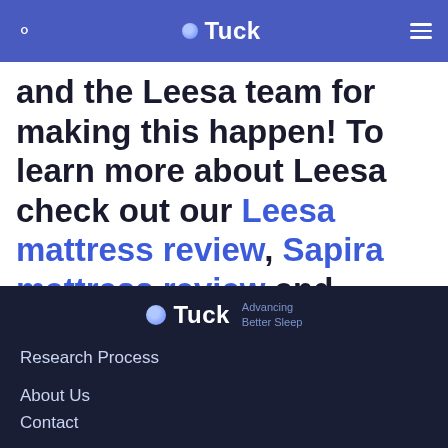Tuck
and the Leesa team for making this happen! To learn more about Leesa check out our Leesa mattress review, Sapira mattress review and Leesa pillow reviews.
[Figure (logo): Tuck logo with tagline 'Advancing Better Sleep' on dark navy footer background]
Research Process
About Us
Contact